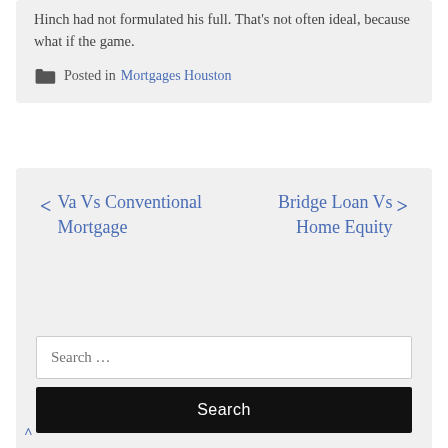Hinch had not formulated his full. That's not often ideal, because what if the game.
Posted in Mortgages Houston
< Va Vs Conventional Mortgage
Bridge Loan Vs Home Equity >
Search …
Search
^